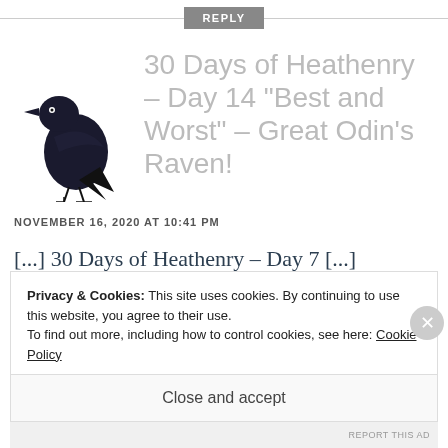REPLY
[Figure (illustration): A black raven/crow standing, facing left with beak open]
30 Days of Heathenry – Day 14 "Best and Worst" – Great Odin's Raven!
NOVEMBER 16, 2020 AT 10:41 PM
[...] 30 Days of Heathenry – Day 7 [...]
Privacy & Cookies: This site uses cookies. By continuing to use this website, you agree to their use.
To find out more, including how to control cookies, see here: Cookie Policy
Close and accept